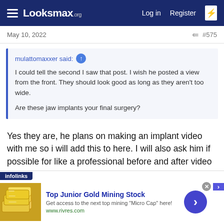Looksmax.org — Log in  Register
May 10, 2022   #575
mulattomaxxer said: ↑  I could tell the second I saw that post. I wish he posted a view from the front. They should look good as long as they aren't too wide.  Are these jaw implants your final surgery?
Yes they are, he plans on making an implant video with me so i will add this to here. I will also ask him if possible for like a professional before and after video end of the year time.
[Figure (screenshot): Advertisement banner: Top Junior Gold Mining Stock — Get access to the next top mining 'Micro Cap' here! www.rivres.com, with gold bars image and arrow button]